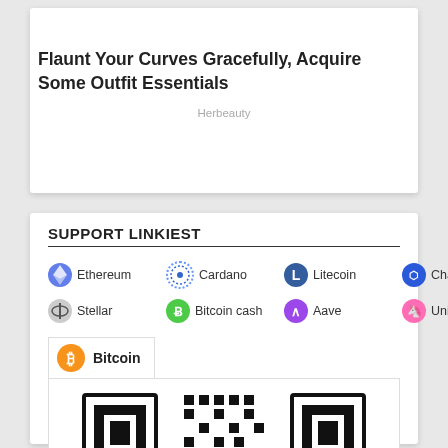Flaunt Your Curves Gracefully, Acquire Some Outfit Essentials
Herbeauty
SUPPORT LINKIEST
Ethereum  Cardano  Litecoin  Chainlink  Stellar  Bitcoin cash  Aave  Uniswap
Bitcoin
[Figure (other): Bitcoin QR code for cryptocurrency donations]